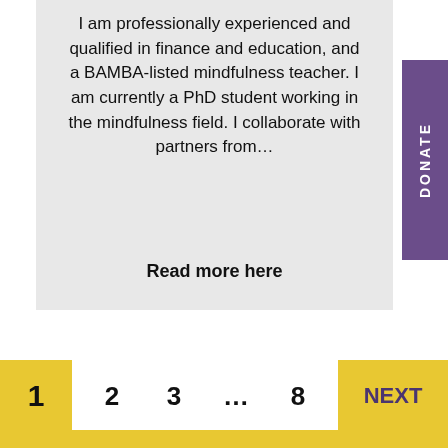I am professionally experienced and qualified in finance and education, and a BAMBA-listed mindfulness teacher. I am currently a PhD student working in the mindfulness field. I collaborate with partners from…
Read more here
DONATE
1  2  3  …  8  NEXT